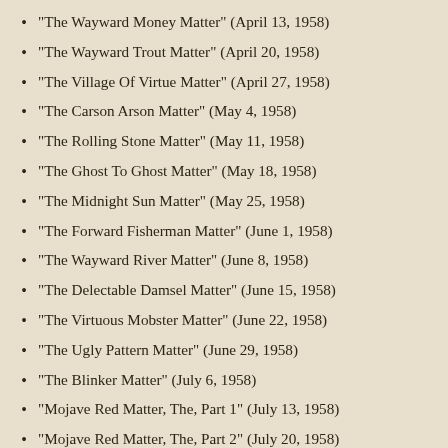“The Wayward Money Matter” (April 13, 1958)
“The Wayward Trout Matter” (April 20, 1958)
“The Village Of Virtue Matter” (April 27, 1958)
“The Carson Arson Matter” (May 4, 1958)
“The Rolling Stone Matter” (May 11, 1958)
“The Ghost To Ghost Matter” (May 18, 1958)
“The Midnight Sun Matter” (May 25, 1958)
“The Forward Fisherman Matter” (June 1, 1958)
“The Wayward River Matter” (June 8, 1958)
“The Delectable Damsel Matter” (June 15, 1958)
“The Virtuous Mobster Matter” (June 22, 1958)
“The Ugly Pattern Matter” (June 29, 1958)
“The Blinker Matter” (July 6, 1958)
“Mojave Red Matter, The, Part 1” (July 13, 1958)
“Mojave Red Matter, The, Part 2” (July 20, 1958)
“The Wayward Killer Matter” (July 27, 1958)